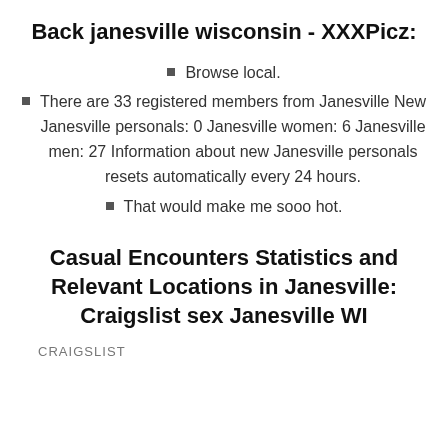Back janesville wisconsin - XXXPicz:
Browse local.
There are 33 registered members from Janesville New Janesville personals: 0 Janesville women: 6 Janesville men: 27 Information about new Janesville personals resets automatically every 24 hours.
That would make me sooo hot.
Casual Encounters Statistics and Relevant Locations in Janesville: Craigslist sex Janesville WI
CRAIGSLIST